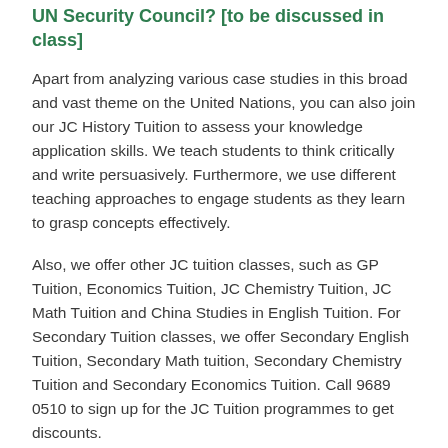UN Security Council? [to be discussed in class]
Apart from analyzing various case studies in this broad and vast theme on the United Nations, you can also join our JC History Tuition to assess your knowledge application skills. We teach students to think critically and write persuasively. Furthermore, we use different teaching approaches to engage students as they learn to grasp concepts effectively.
Also, we offer other JC tuition classes, such as GP Tuition, Economics Tuition, JC Chemistry Tuition, JC Math Tuition and China Studies in English Tuition. For Secondary Tuition classes, we offer Secondary English Tuition, Secondary Math tuition, Secondary Chemistry Tuition and Secondary Economics Tuition. Call 9689 0510 to sign up for the JC Tuition programmes to get discounts.